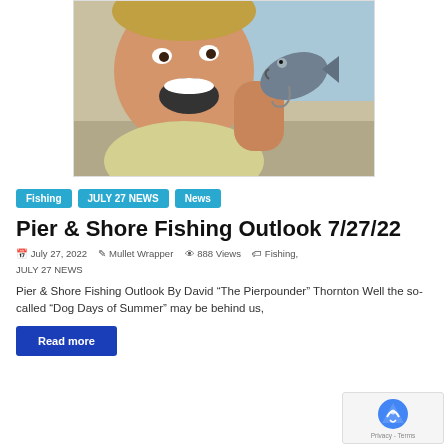[Figure (photo): Man laughing/smiling widely holding a fish up close to the camera outdoors]
Fishing
JULY 27 NEWS
News
Pier & Shore Fishing Outlook 7/27/22
July 27, 2022   Mullet Wrapper   888 Views   Fishing, JULY 27 NEWS
Pier & Shore Fishing Outlook By David “The Pierpounder” Thornton Well the so-called “Dog Days of Summer” may be behind us,
Read more